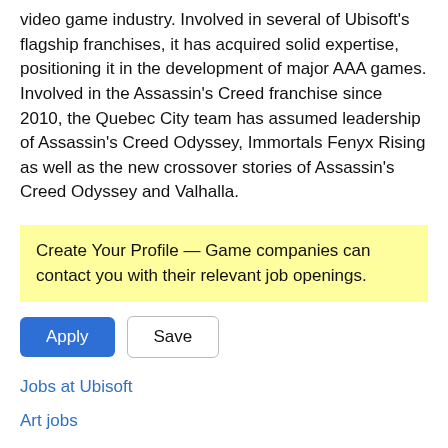video game industry. Involved in several of Ubisoft's flagship franchises, it has acquired solid expertise, positioning it in the development of major AAA games. Involved in the Assassin's Creed franchise since 2010, the Quebec City team has assumed leadership of Assassin's Creed Odyssey, Immortals Fenyx Rising as well as the new crossover stories of Assassin's Creed Odyssey and Valhalla.
Create Your Profile — Game companies can contact you with their relevant job openings.
Apply | Save
Jobs at Ubisoft
Art jobs
About · Privacy · Security · Changelog · Need help? Email support@gamejobs.co